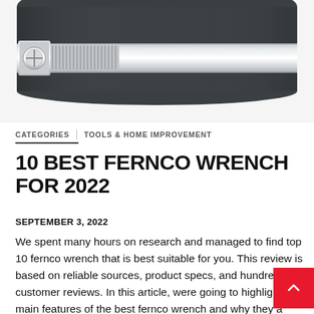[Figure (photo): Close-up photo of a dark grey rubber Fernco pipe coupling with a stainless steel hose clamp band around it, on a white background.]
CATEGORIES   TOOLS & HOME IMPROVEMENT
10 BEST FERNCO WRENCH FOR 2022
SEPTEMBER 3, 2022
We spent many hours on research and managed to find top 10 fernco wrench that is best suitable for you. This review is based on reliable sources, product specs, and hundreds of customer reviews. In this article, were going to highlight main features of the best fernco wrench and why they are important when it comes to choosing the right one.